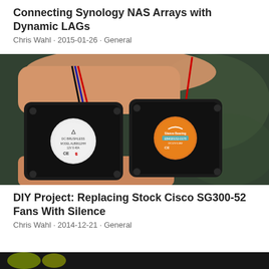Connecting Synology NAS Arrays with Dynamic LAGs
Chris Wahl · 2015-01-26 · General
[Figure (photo): A hand holding two small black computer cooling fans side by side. The left fan has a white label with the Delta logo and CE/UL markings. The right fan has an orange label. Both have red and blue/black wire connectors. Background shows blurred green circuit board.]
DIY Project: Replacing Stock Cisco SG300-52 Fans With Silence
Chris Wahl · 2014-12-21 · General
[Figure (photo): Partial view of another image at the bottom of the page, showing what appears to be green and yellow colored elements, cropped.]